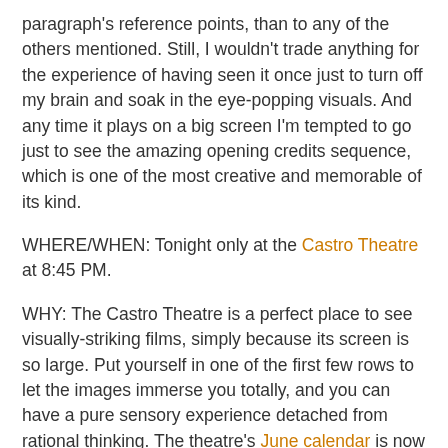paragraph's reference points, than to any of the others mentioned. Still, I wouldn't trade anything for the experience of having seen it once just to turn off my brain and soak in the eye-popping visuals. And any time it plays on a big screen I'm tempted to go just to see the amazing opening credits sequence, which is one of the most creative and memorable of its kind.
WHERE/WHEN: Tonight only at the Castro Theatre at 8:45 PM.
WHY: The Castro Theatre is a perfect place to see visually-striking films, simply because its screen is so large. Put yourself in one of the first few rows to let the images immerse you totally, and you can have a pure sensory experience detached from rational thinking. The theatre's June calendar is now up on its website, and it's packed with lots of screenings that might be appreciated that way. It's Burt Lancaster's centennial year, and his 35mm double-feature next Wednesday includes the very visual Atlantic City. The day after is a Warren Oates pairing of Two-Lane Blacktop and Bring Me the Head of Alfredo Garcia. A